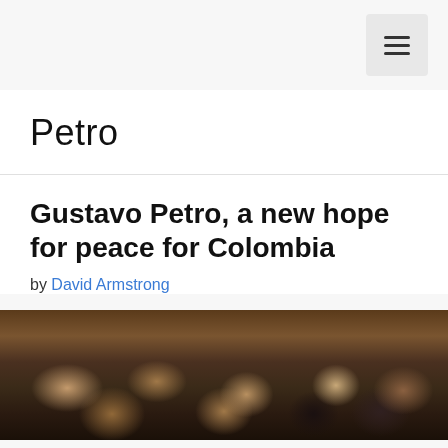☰
Petro
Gustavo Petro, a new hope for peace for Colombia
by David Armstrong
[Figure (photo): Crowd of people in an auditorium-like setting, viewed from slightly above, with warm brown/wood tones in the background.]